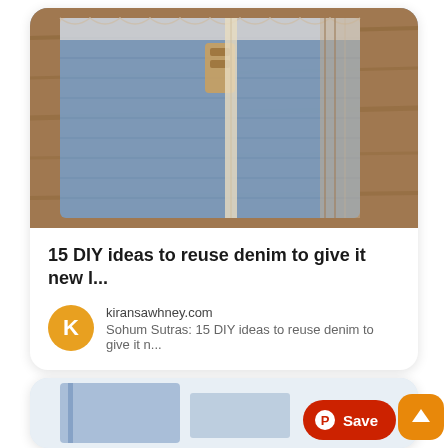[Figure (photo): Photograph of a handmade denim wallet/notebook cover with lace trim, clasp and elastic closure on a wooden surface]
15 DIY ideas to reuse denim to give it new l...
kiransawhney.com
Sohum Sutras: 15 DIY ideas to reuse denim to give it n...
[Figure (photo): Partial view of a second Pinterest card showing a denim item, with a red Save button and orange up-arrow button overlay]